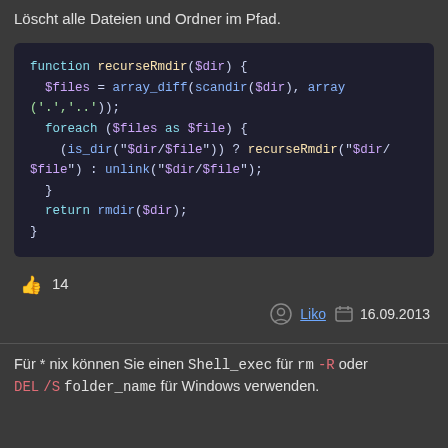Löscht alle Dateien und Ordner im Pfad.
[Figure (screenshot): PHP code block showing a recursive directory removal function (recurseRmdir) with syntax highlighting on dark background]
14 (likes)
Liko  16.09.2013
Für * nix können Sie einen Shell_exec für rm -R oder DEL /S folder_name für Windows verwenden.